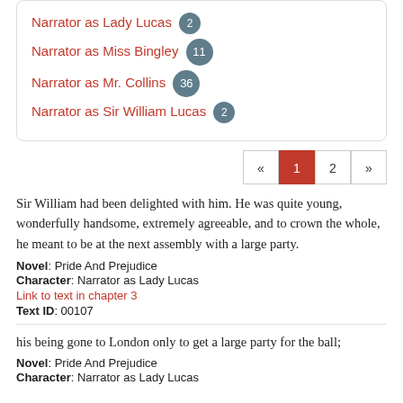Narrator as Lady Lucas 2
Narrator as Miss Bingley 11
Narrator as Mr. Collins 36
Narrator as Sir William Lucas 2
« 1 2 »
Sir William had been delighted with him. He was quite young, wonderfully handsome, extremely agreeable, and to crown the whole, he meant to be at the next assembly with a large party.
Novel: Pride And Prejudice
Character: Narrator as Lady Lucas
Link to text in chapter 3
Text ID: 00107
his being gone to London only to get a large party for the ball;
Novel: Pride And Prejudice
Character: Narrator as Lady Lucas